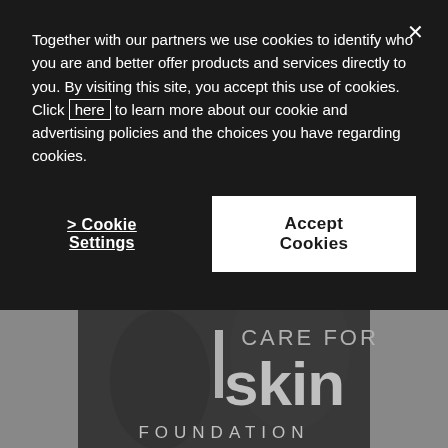Together with our partners we use cookies to identify who you are and better offer products and services directly to you. By visiting this site, you accept this use of cookies. Click here to learn more about our cookie and advertising policies and the choices you have regarding cookies.
> Cookie Settings
Accept Cookies
[Figure (photo): Care for Skin Foundation logo overlaid on a dark background photo showing people]